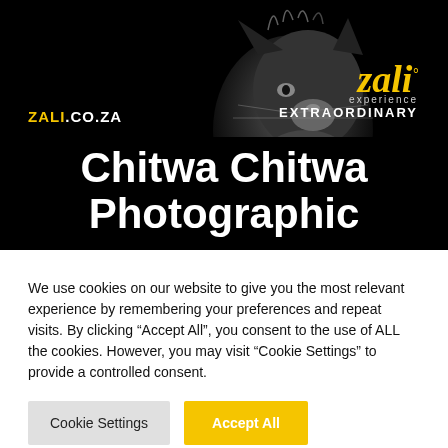[Figure (photo): Black and white close-up photo of a leopard or big cat face looking upward, on dark background, with ZALI.CO.ZA logo and 'zali experience EXTRAORDINARY' branding]
Chitwa Chitwa Photographic
We use cookies on our website to give you the most relevant experience by remembering your preferences and repeat visits. By clicking “Accept All”, you consent to the use of ALL the cookies. However, you may visit “Cookie Settings” to provide a controlled consent.
Cookie Settings | Accept All